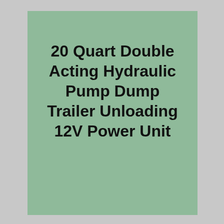20 Quart Double Acting Hydraulic Pump Dump Trailer Unloading 12V Power Unit